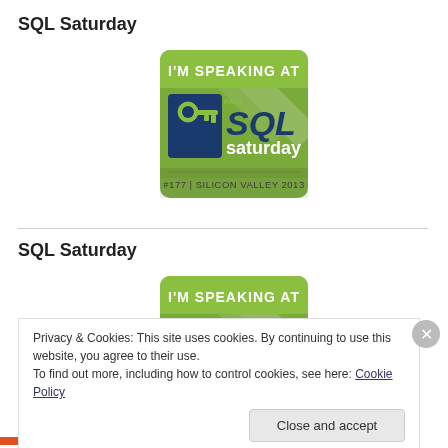SQL Saturday
[Figure (logo): SQL Saturday speaker badge: 'I'M SPEAKING AT' text in green banner, PASS SQL Saturday logo with key icon, '#177 | SILICON VALLEY 2013' text at bottom]
SQL Saturday
[Figure (logo): SQL Saturday speaker badge (partial/cropped): 'I'M SPEAKING AT' text in green banner, partial SQL logo visible]
Privacy & Cookies: This site uses cookies. By continuing to use this website, you agree to their use.
To find out more, including how to control cookies, see here: Cookie Policy
Close and accept